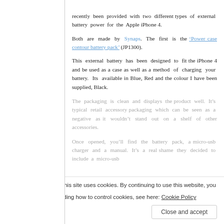recently been provided with two different types of external battery power for the Apple iPhone 4.
Both are made by Synaps. The first is the ‘Power case contour battery pack’ (JP1300).
This external battery has been designed to fit the iPhone 4 and be used as a case as well as a method of charging your battery. Its available in Blue, Red and the colour I have been supplied, Black.
The packaging is clean and displays the product well. It’s typical retail accessory packaging which can be seen as a negative as it wouldn’t stand out on a shelf of other accessories.
Once opened, you’ll find the battery pack, a micro-usb charger and a manual. It’s a real shame they decided to include a micro-usb
Privacy & Cookies: This site uses cookies. By continuing to use this website, you agree to their use. To find out more, including how to control cookies, see here: Cookie Policy